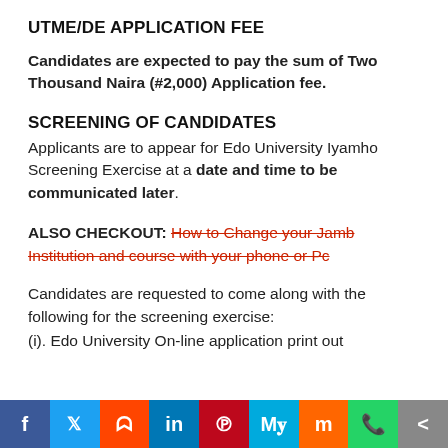UTME/DE APPLICATION FEE
Candidates are expected to pay the sum of Two Thousand Naira (#2,000) Application fee.
SCREENING OF CANDIDATES
Applicants are to appear for Edo University Iyamho Screening Exercise at a date and time to be communicated later.
ALSO CHECKOUT: How to Change your Jamb Institution and course with your phone or Pc
Candidates are requested to come along with the following for the screening exercise:
(i). Edo University On-line application print out